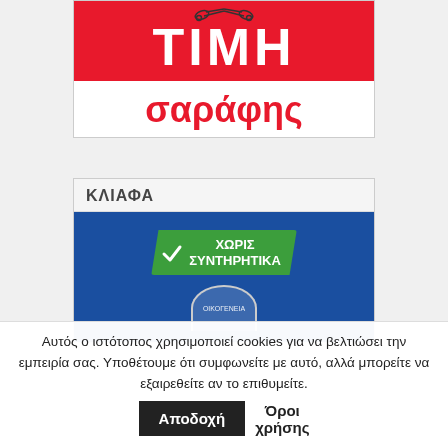[Figure (logo): ΤΙΜΗ σαράφης logo — red banner with scissors icon, bold white Greek text ΤΙΜΗ, and red text σαράφης below on white background]
[Figure (logo): ΚΛΙΑΦΑ product card with green checkmark banner reading ΧΩΡΙΣ ΣΥΝΤΗΡΗΤΙΚΑ on blue background, with circular family badge below]
Αυτός ο ιστότοπος χρησιμοποιεί cookies για να βελτιώσει την εμπειρία σας. Υποθέτουμε ότι συμφωνείτε με αυτό, αλλά μπορείτε να εξαιρεθείτε αν το επιθυμείτε.
Αποδοχή
Όροι χρήσης